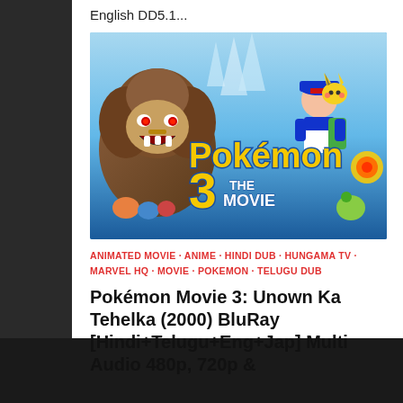TOONWORLD4ALL
English DD5.1...
[Figure (illustration): Pokemon 3 The Movie promotional artwork showing Entei roaring, Ash with Pikachu, and other Pokemon characters on a blue icy background with the Pokemon 3 The Movie logo]
ANIMATED MOVIE · ANIME · HINDI DUB · HUNGAMA TV · MARVEL HQ · MOVIE · POKEMON · TELUGU DUB
Pokémon Movie 3: Unown Ka Tehelka (2000) BluRay [Hindi+Telugu+Eng+Jap] Multi Audio 480p, 720p &